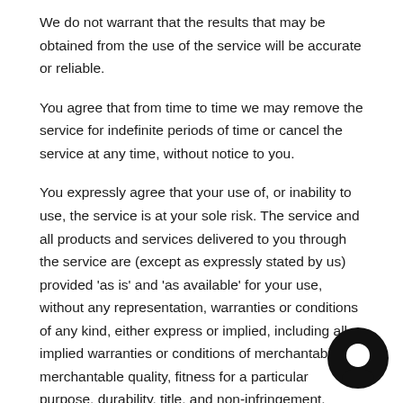We do not warrant that the results that may be obtained from the use of the service will be accurate or reliable.
You agree that from time to time we may remove the service for indefinite periods of time or cancel the service at any time, without notice to you.
You expressly agree that your use of, or inability to use, the service is at your sole risk. The service and all products and services delivered to you through the service are (except as expressly stated by us) provided 'as is' and 'as available' for your use, without any representation, warranties or conditions of any kind, either express or implied, including all implied warranties or conditions of merchantability, merchantable quality, fitness for a particular purpose, durability, title, and non-infringement.
In no case shall BGB Personalized Gifts, LLC, our directors,